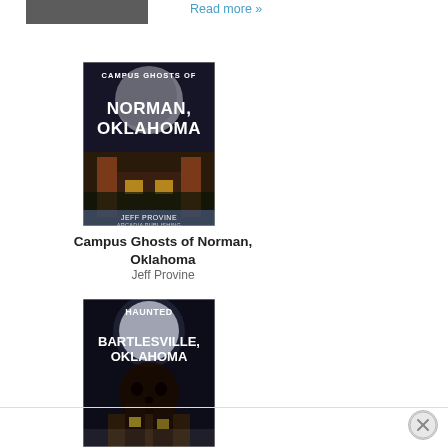[Figure (photo): Partial book cover image at top, cropped]
Read more »
[Figure (photo): Book cover: Campus Ghosts of Norman, Oklahoma by Jeff Provine. Dark night sky with full moon, brick gate entrance to a building.]
Campus Ghosts of Norman, Oklahoma
Jeff Provine
[Figure (photo): Book cover: Haunted Bartlesville, Oklahoma. Dark night sky with full moon, skull, haunted house.]